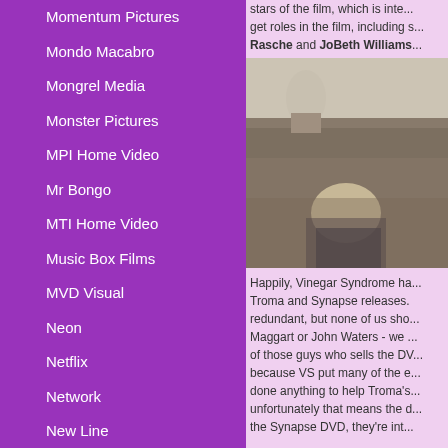Momentum Pictures
Mondo Macabro
Mongrel Media
Monster Pictures
MPI Home Video
Mr Bongo
MTI Home Video
Music Box Films
MVD Visual
Neon
Netflix
Network
New Line
New Yorker
Next Step Studios
Nordisk
stars of the film, which is inte... get roles in the film, including s... Rasche and JoBeth Williams...
[Figure (photo): A young blonde child sitting on a couch or sofa, photographed in a dim interior with a lamp visible in the background.]
Happily, Vinegar Syndrome ha... Troma and Synapse releases. redundant, but none of us sho... Maggart or John Waters - we ... of those guys who sells the DV... because VS put many of the e... done anything to help Troma's... unfortunately that means the d... the Synapse DVD, they're int...